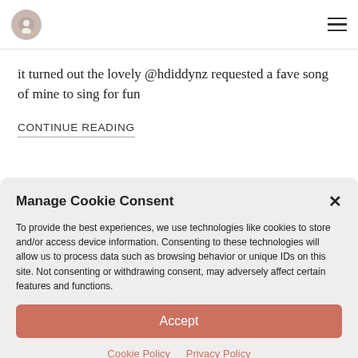Navigation bar with logo and hamburger menu
it turned out the lovely @hdiddynz requested a fave song of mine to sing for fun
CONTINUE READING
Manage Cookie Consent
To provide the best experiences, we use technologies like cookies to store and/or access device information. Consenting to these technologies will allow us to process data such as browsing behavior or unique IDs on this site. Not consenting or withdrawing consent, may adversely affect certain features and functions.
Accept
Cookie Policy   Privacy Policy